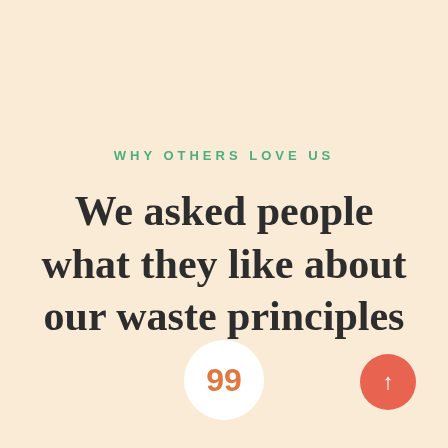WHY OTHERS LOVE US
We asked people what they like about our waste principles
99
[Figure (illustration): Red circle with upward arrow icon in bottom-right corner]